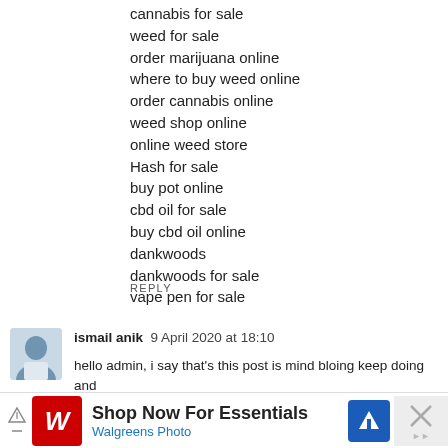cannabis for sale
weed for sale
order marijuana online
where to buy weed online
order cannabis online
weed shop online
online weed store
Hash for sale
buy pot online
cbd oil for sale
buy cbd oil online
dankwoods
dankwoods for sale
vape pen for sale
REPLY
ismail anik  9 April 2020 at 18:10
hello admin, i say that's this post is mind bloing keep doing and
[Figure (screenshot): Walgreens Photo advertisement banner: Shop Now For Essentials, Walgreens Photo, with navigation arrow icon and close X button]